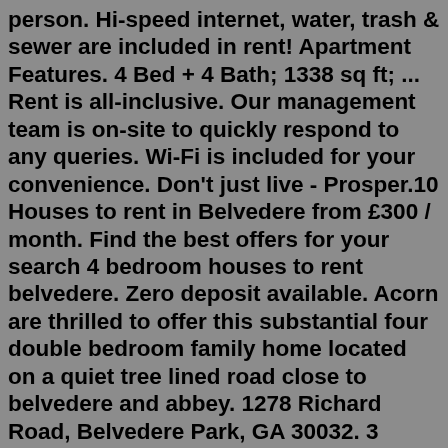person. Hi-speed internet, water, trash & sewer are included in rent! Apartment Features. 4 Bed + 4 Bath; 1338 sq ft; ... Rent is all-inclusive. Our management team is on-site to quickly respond to any queries. Wi-Fi is included for your convenience. Don't just live - Prosper.10 Houses to rent in Belvedere from £300 / month. Find the best offers for your search 4 bedroom houses to rent belvedere. Zero deposit available. Acorn are thrilled to offer this substantial four double bedroom family home located on a quiet tree lined road close to belvedere and abbey. 1278 Richard Road, Belvedere Park, GA 30032. 3 Bedrooms. $1,890. 1150 sqft. $500 flat deposit (if qualified) Ready Now! This home is vacant' Stunningly renovated 3 bedroom 2 bathroom home in Decatur. This home features all new flooring, paint, counters and stainless steel appliances. Call to schedule a viewing today.Furnished, personally checked rental apartments for long-term in Istanbul. Rent your tastefull decorated, verified home. Most popular for apartments to rent in Istanbul by category. The location